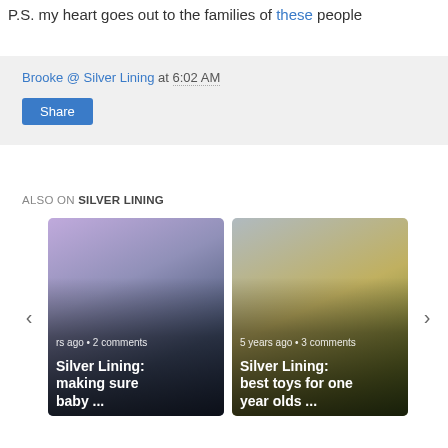P.S. my heart goes out to the families of these people
Brooke @ Silver Lining at 6:02 AM
Share
ALSO ON SILVER LINING
[Figure (photo): Baby with purple bow being held by adult in lavender shirt with text overlay: 'rs ago • 2 comments' and 'Silver Lining: making sure baby ...']
[Figure (photo): Child and woman looking at something, child in yellow/green shirt, with text overlay: '5 years ago • 3 comments' and 'Silver Lining: best toys for one year olds ...']